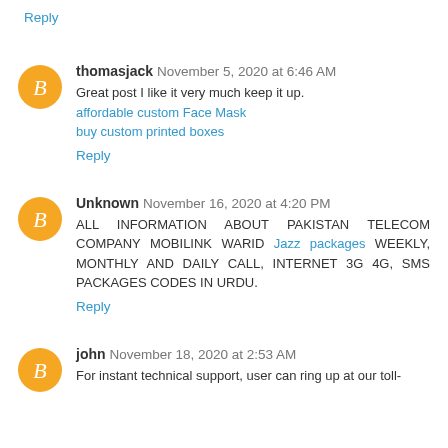Reply
thomasjack November 5, 2020 at 6:46 AM
Great post I like it very much keep it up.
affordable custom Face Mask
buy custom printed boxes
Reply
Unknown November 16, 2020 at 4:20 PM
ALL INFORMATION ABOUT PAKISTAN TELECOM COMPANY MOBILINK WARID Jazz packages WEEKLY, MONTHLY AND DAILY CALL, INTERNET 3G 4G, SMS PACKAGES CODES IN URDU.
Reply
john November 18, 2020 at 2:53 AM
For instant technical support, user can ring up at our toll-